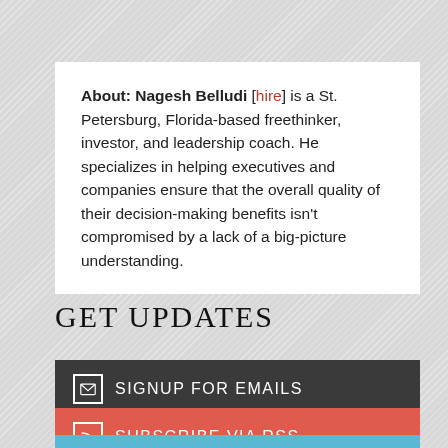About: Nagesh Belludi [hire] is a St. Petersburg, Florida-based freethinker, investor, and leadership coach. He specializes in helping executives and companies ensure that the overall quality of their decision-making benefits isn't compromised by a lack of a big-picture understanding.
GET UPDATES
SIGNUP FOR EMAILS
SUBSCRIBE VIA RSS